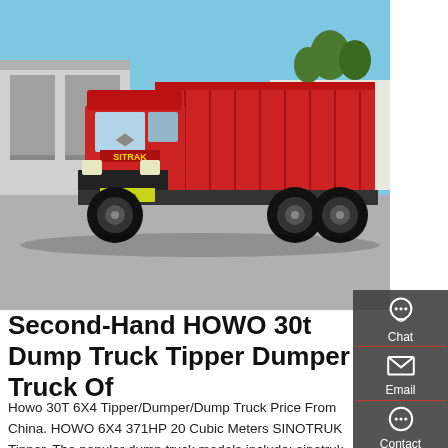[Figure (photo): A red SITRAK brand dump truck (tipper) parked in front of a warehouse/industrial building, blue sky background, viewed from front-left angle]
Second-Hand HOWO 30t Dump Truck Tipper Dumper Truck Of
Howo 30T 6X4 Tipper/Dumper/Dump Truck Price From China. HOWO 6X4 371HP 20 Cubic Meters SINOTRUK Tipper. The popular dump truck models include: sinotruk HOWO 336hp 6X4 10 wheel 16 cubic meters dump truck sinotruk 371hp 10 wheeler 30 tons 20 . cubic meters tipper SINOTRUK howo